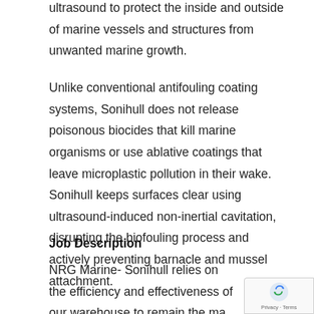ultrasound to protect the inside and outside of marine vessels and structures from unwanted marine growth.
Unlike conventional antifouling coating systems, Sonihull does not release poisonous biocides that kill marine organisms or use ablative coatings that leave microplastic pollution in their wake. Sonihull keeps surfaces clear using ultrasound-induced non-inertial cavitation, disrupting the biofouling process and actively preventing barnacle and mussel attachment.
Job Description
NRG Marine- Sonihull relies on the efficiency and effectiveness of our warehouse to remain the mar...